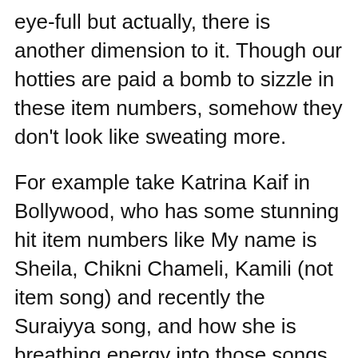eye-full but actually, there is another dimension to it. Though our hotties are paid a bomb to sizzle in these item numbers, somehow they don't look like sweating more.
For example take Katrina Kaif in Bollywood, who has some stunning hit item numbers like My name is Sheila, Chikni Chameli, Kamili (not item song) and recently the Suraiyya song, and how she is breathing energy into those songs. Now take our hotties like Tamanna, Kajal, Pooja Hegde and others, and their item numbers.
Katrina is actually practicing hard for the songs by rehearsing some terrific dance moves. At the same time, she's putting hours of the gym into place such that her physique